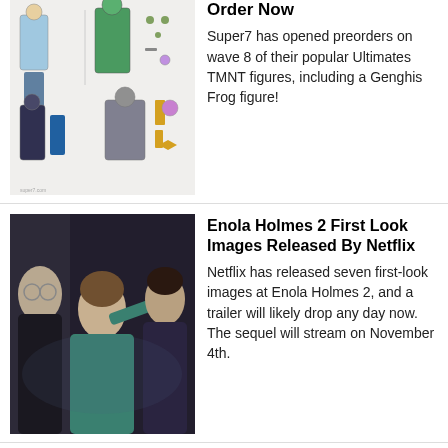[Figure (photo): TMNT Ultimates action figures product image showing multiple characters and accessories on white background]
Order Now
Super7 has opened preorders on wave 8 of their popular Ultimates TMNT figures, including a Genghis Frog figure!
[Figure (photo): Movie still from Enola Holmes 2 showing three actors in period costume, a young woman in a teal outfit gesturing, flanked by two men]
Enola Holmes 2 First Look Images Released By Netflix
Netflix has released seven first-look images at Enola Holmes 2, and a trailer will likely drop any day now. The sequel will stream on November 4th.
[Figure (photo): Movie still from Old Man showing a close-up of an older man with dramatic warm lighting]
Old Man Rights Purchased By RLJE Films, Releasing October 14th